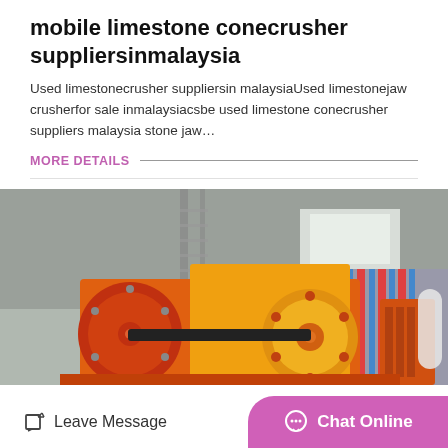mobile limestone conecrusher suppliersinmalaysia
Used limestonecrusher suppliersin malaysiaUsed limestonejaw crusherfor sale inmalaysiacsbe used limestone conecrusher suppliers malaysia stone jaw…
MORE DETAILS
[Figure (photo): Industrial jaw crusher machine with orange and yellow painted metal parts, large flywheels, inside a factory building with grey metal structure in background]
Leave Message
Chat Online